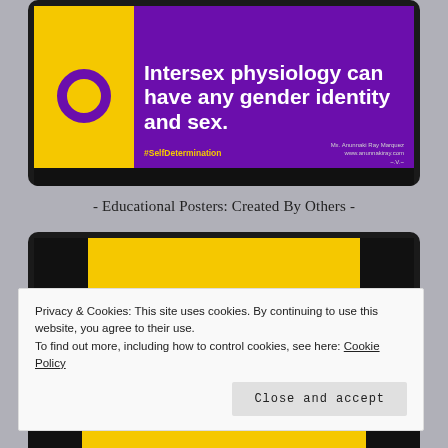[Figure (illustration): Poster with yellow left panel showing intersex ring symbol and purple right panel with white bold text reading 'Intersex physiology can have any gender identity and sex.' with yellow #SelfDetermination hashtag and attribution to Mx. Anunnaki Ray Marquez, www.anunnakiray.com]
- Educational Posters: Created By Others -
[Figure (illustration): Partial view of another educational poster with black side panels and yellow center panel, partially obscured by cookie consent banner]
Privacy & Cookies: This site uses cookies. By continuing to use this website, you agree to their use.
To find out more, including how to control cookies, see here: Cookie Policy
Close and accept